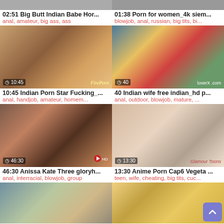[Figure (screenshot): Video thumbnail grid - adult content video listing page with 6 partially visible video cards arranged in a 2-column grid]
02:51 Big Butt Indian Babe Hor...
anal, amateur, big ass, ass
01:38 Porn for women_4k siem...
blowjob, anal, russian, big tits, bi...
10:45 Indian Porn Star Fucking_...
anal, handjob, amateur, homem...
40 Indian wife free indian_hd p...
anal, outdoor, blowjob, mature, ...
46:30 Anissa Kate Three gloryh...
anal, interracial, blowjob, group
13:30 Anime Porn Cap6 Vegeta ...
teen, wife, cheating, big tits, cuc...